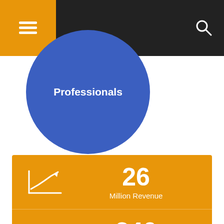Navigation bar with hamburger menu and search icon
[Figure (illustration): Blue circle with text 'Professionals' inside]
[Figure (infographic): Orange statistics panel with three rows: 26 Million Revenue (trend-up chart icon), 240 Machineries (gears icon), 120 Happy Customer (smiley face icon)]